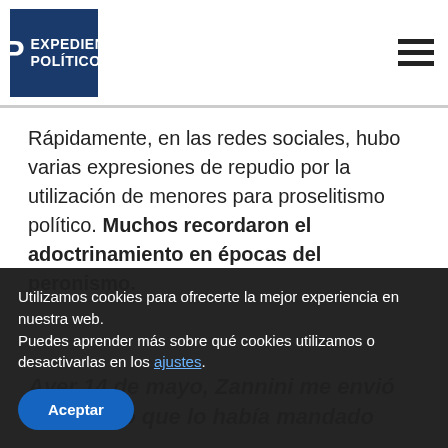Expediente Político
Rápidamente, en las redes sociales, hubo varias expresiones de repudio por la utilización de menores para proselitismo político. Muchos recordaron el adoctrinamiento en épocas del peronismo.
Ayer 14 de mayo, Zannini me envió este video que lo había mandado
Utilizamos cookies para ofrecerte la mejor experiencia en nuestra web.
Puedes aprender más sobre qué cookies utilizamos o desactivarlas en los ajustes.